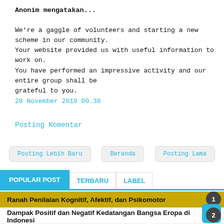Anonim mengatakan...
We're a gaggle of volunteers and starting a new scheme in our community.
Your website provided us with useful information to work on.
You have performed an impressive activity and our entire group shall be
grateful to you.
28 November 2019 00.38
Posting Komentar
Posting Lebih Baru
Beranda
Posting Lama
POPULAR POST
TERBARU
LABEL
Ranah Penilaian Kognitif, Afektif, dan Psikomotor
Dampak Positif dan Negatif Kedatangan Bangsa Eropa di Indonesi...